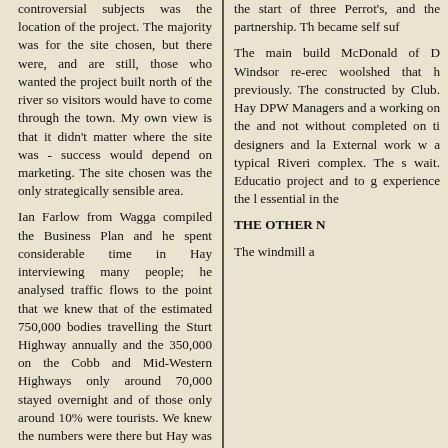controversial subjects was the location of the project. The majority was for the site chosen, but there were, and are still, those who wanted the project built north of the river so visitors would have to come through the town. My own view is that it didn't matter where the site was - success would depend on marketing. The site chosen was the only strategically sensible area.
Ian Farlow from Wagga compiled the Business Plan and he spent considerable time in Hay interviewing many people; he analysed traffic flows to the point that we knew that of the estimated 750,000 bodies travelling the Sturt Highway annually and the 350,000 on the Cobb and Mid-Western Highways only around 70,000 stayed overnight and of those only around 10% were tourists. We knew the numbers were there but Hay was not regarded as a stop-over place. Our objective was very clear. We had to make them stop! many people regarded the enormous as being a gold mine - Hay's retail community hasn't gained much at all over the years from the travelling public.
the start of three Perrot's, and the partnership. Th became self suf
The main build McDonald of D Windsor re-erec woolshed that h previously. The constructed by Club. Hay DPW Managers and a working on the and not without completed on ti designers and la External work w a typical Riveri complex. The s wait. Educatio project and to g experience the l essential in the
THE OTHER N
The windmill a